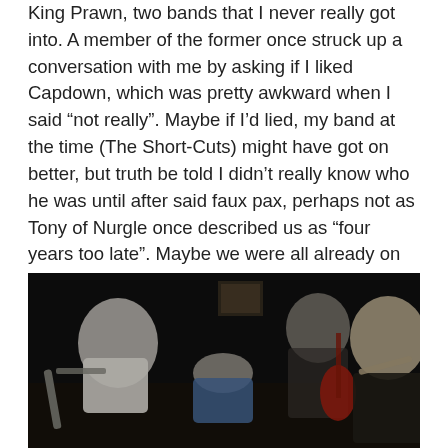King Prawn, two bands that I never really got into. A member of the former once struck up a conversation with me by asking if I liked Capdown, which was pretty awkward when I said “not really”. Maybe if I’d lied, my band at the time (The Short-Cuts) might have got on better, but truth be told I didn’t really know who he was until after said faux pax, perhaps not as Tony of Nurgle once described us as “four years too late”. Maybe we were all already on the wane at the tender age of just about being old enough to go to Jilly’s, but now is not the time to wallow and reminisce; it’s the time to review.
[Figure (photo): A dark photograph of musicians performing, showing a trombone player on the left wearing a white t-shirt, a person in blue in the middle, a guitarist with a red guitar in the background, and a man with facial hair playing a wind instrument on the right.]